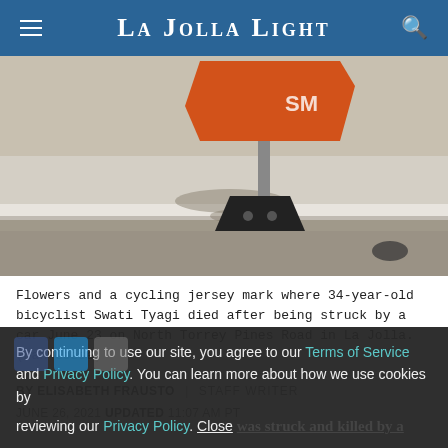La Jolla Light
[Figure (photo): Photo of a road barrier with an orange construction sign on a concrete sidewalk/curb area, marking the spot where a bicyclist was struck and killed]
Flowers and a cycling jersey mark where 34-year-old bicyclist Swati Tyagi died after being struck by a car June 23 on North Torrey Pines Road in La Jolla. (Dan Goese)
BY ELISABETH FRAUSTO  |  STAFF WRITER
JUNE 26, 2021  UPDATED  11:07 AM PT
By continuing to use our site, you agree to our Terms of Service and Privacy Policy. You can learn more about how we use cookies by reviewing our Privacy Policy.  Close
A woman bicyclist was struck and killed by a